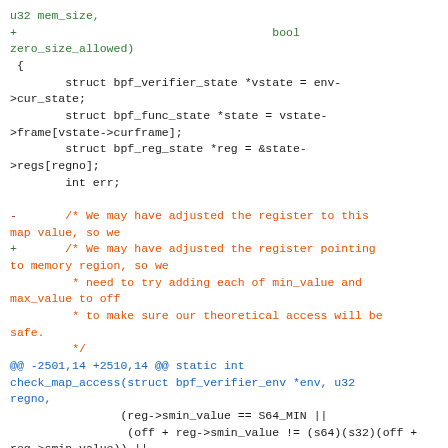u32 mem_size,
+                                     bool
zero_size_allowed)
 {
        struct bpf_verifier_state *vstate = env->cur_state;
        struct bpf_func_state *state = vstate->frame[vstate->curframe];
        struct bpf_reg_state *reg = &state->regs[regno];
        int err;

-       /* We may have adjusted the register to this map value, so we
+       /* We may have adjusted the register pointing to memory region, so we
         * need to try adding each of min_value and max_value to off
         * to make sure our theoretical access will be safe.
         */
@@ -2501,14 +2510,14 @@ static int check_map_access(struct bpf_verifier_env *env, u32 regno,
                (reg->smin_value == S64_MIN ||
                 (off + reg->smin_value != (s64)(s32)(off + reg->smin_value)) ||
                 reg->smin_value + off < 0)) {
-              verbose(env, "R%d min value is negative, either use unsigned index or do a if (index